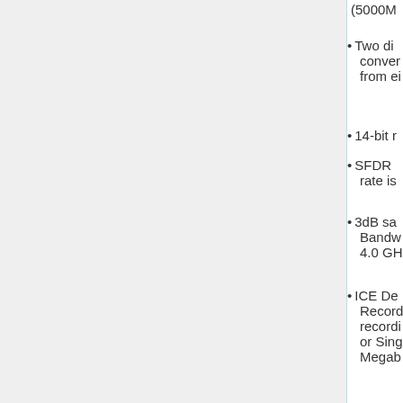(5000M...
Two di... converters... from ei...
14-bit r...
SFDR ... rate is ...
3dB sa... Bandw... 4.0 GH...
ICE De... Record... recordi... or Sing... Megab...
The ICE A... dual chann... analog-to-... converter i... for use wit...